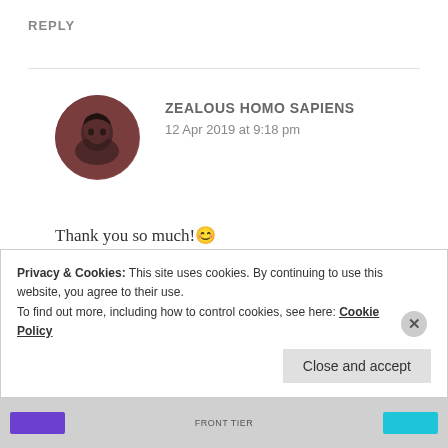REPLY
[Figure (photo): Circular avatar photo of a person with dark hair against a dark background, tinted reddish-brown]
ZEALOUS HOMO SAPIENS
12 Apr 2019 at 9:18 pm
Thank you so much! 😊
★ Like
REPLY
Privacy & Cookies: This site uses cookies. By continuing to use this website, you agree to their use.
To find out more, including how to control cookies, see here: Cookie Policy
Close and accept